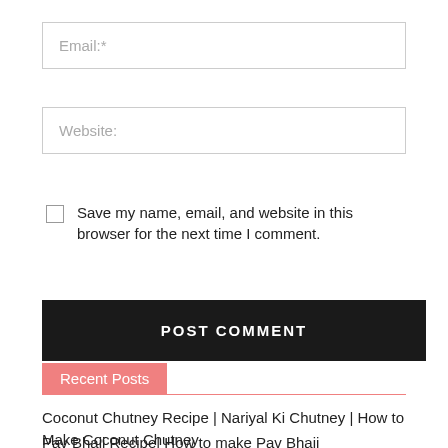Email:*
Website:
Save my name, email, and website in this browser for the next time I comment.
POST COMMENT
Recent Posts
Coconut Chutney Recipe | Nariyal Ki Chutney | How to Make Coconut Chutney
Pav Bhaji Recipe| How to make Pav Bhaji